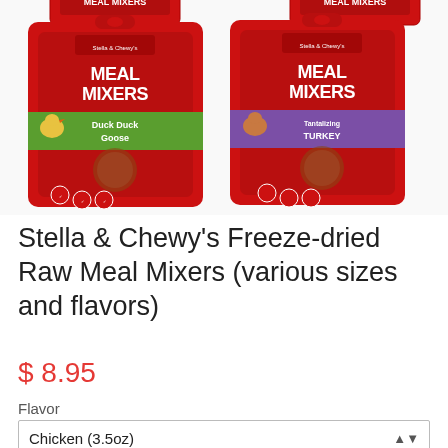[Figure (photo): Two red Stella & Chewy's Meal Mixers dog food bags side by side — left bag is Duck Duck Goose flavor (green accent), right bag is Tantalizing Turkey flavor (purple accent). Partial tops of two additional bags visible at the very top of the image.]
Stella & Chewy's Freeze-dried Raw Meal Mixers (various sizes and flavors)
$ 8.95
Flavor
Chicken (3.5oz)